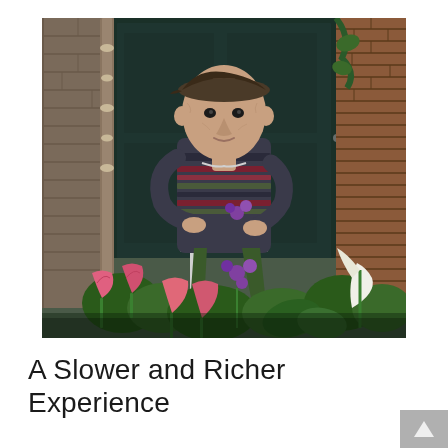[Figure (photo): An elderly man wearing a flat cap and striped sweater sits in a chair surrounded by colorful flowers including pink tulips and purple flowers. He is positioned in front of a dark green wooden door, flanked by a stone wall on the left and a brick wall on the right. The scene appears to be a garden or courtyard setting.]
A Slower and Richer Experience